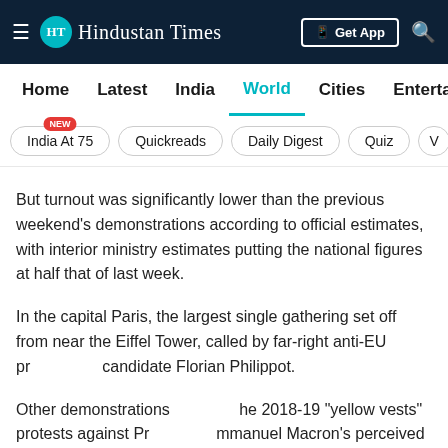Hindustan Times
Home  Latest  India  World  Cities  Entertainment
India At 75  Quickreads  Daily Digest  Quiz  V
But turnout was significantly lower than the previous weekend's demonstrations according to official estimates, with interior ministry estimates putting the national figures at half that of last week.
In the capital Paris, the largest single gathering set off from near the Eiffel Tower, called by far-right anti-EU presidential candidate Florian Philippot.
Other demonstrations recalled the 2018-19 "yellow vests" protests against President Emmanuel Macron's perceived favouring of the wealthy.
There were also marches in major cities including Bordeaux,